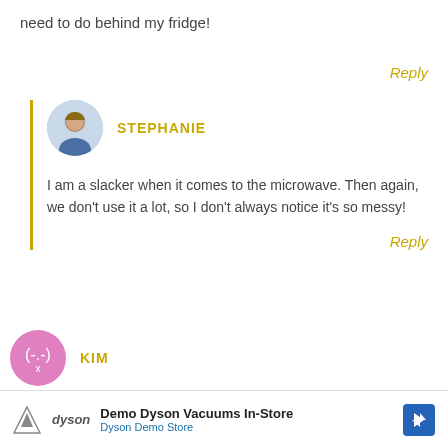need to do behind my fridge!
Reply
STEPHANIE
I am a slacker when it comes to the microwave. Then again, we don't use it a lot, so I don't always notice it's so messy!
Reply
KIM
I am obsessed with cleaning my kitchen cabinets! Your kitchen is so beautiful btw 🙂